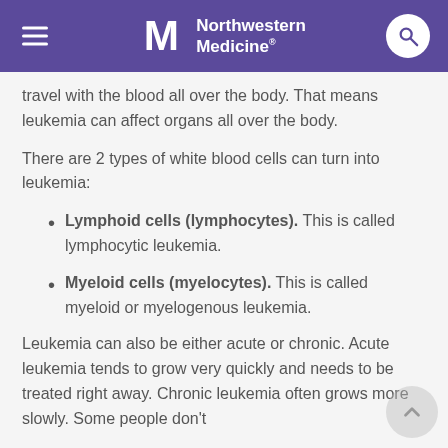Northwestern Medicine
travel with the blood all over the body. That means leukemia can affect organs all over the body.
There are 2 types of white blood cells can turn into leukemia:
Lymphoid cells (lymphocytes). This is called lymphocytic leukemia.
Myeloid cells (myelocytes). This is called myeloid or myelogenous leukemia.
Leukemia can also be either acute or chronic. Acute leukemia tends to grow very quickly and needs to be treated right away. Chronic leukemia often grows more slowly. Some people don't